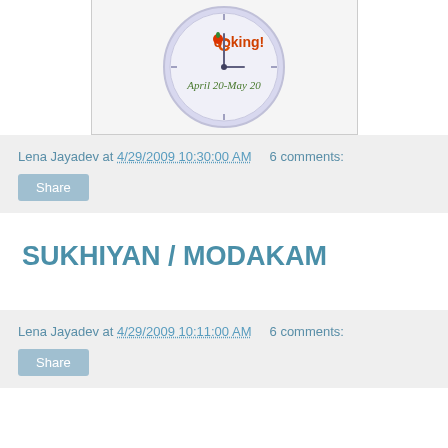[Figure (illustration): Clock-style logo with text 'Cooking!' and 'April 20-May 20' inside a circular design with fruit decorations]
Lena Jayadev at 4/29/2009 10:30:00 AM    6 comments:
Share
SUKHIYAN / MODAKAM
Lena Jayadev at 4/29/2009 10:11:00 AM    6 comments:
Share